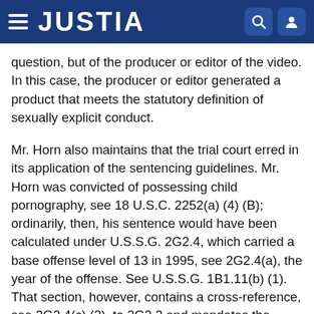JUSTIA
question, but of the producer or editor of the video. In this case, the producer or editor generated a product that meets the statutory definition of sexually explicit conduct.
Mr. Horn also maintains that the trial court erred in its application of the sentencing guidelines. Mr. Horn was convicted of possessing child pornography, see 18 U.S.C. 2252(a) (4) (B); ordinarily, then, his sentence would have been calculated under U.S.S.G. 2G2.4, which carried a base offense level of 13 in 1995, see 2G2.4(a), the year of the offense. See U.S.S.G. 1B1.11(b) (1). That section, however, contains a cross-reference, see 2G2.4(c) (2), to 2G2.2 and mandates the application of 2G2.2 if the offense involved "trafficking in material involving the sexual exploitation of a minor (including receiving, transporting, shipping, advertising, or possessing